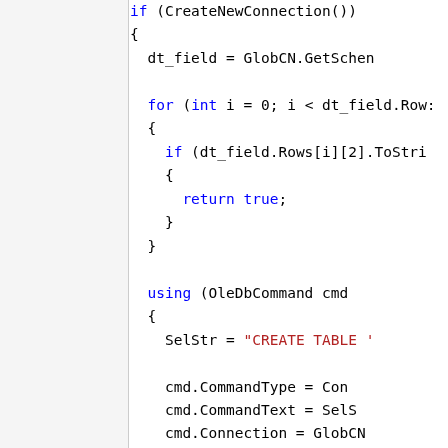[Figure (screenshot): Code snippet showing C# source code with if/for/using blocks, featuring syntax highlighting: blue keywords (if, for, int, using, null), red string literal ("CREATE TABLE '"), and black identifiers. Code is partially cropped on the right side.]